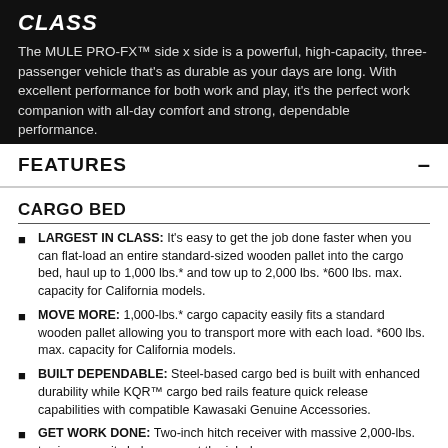CLASS
The MULE PRO-FX™ side x side is a powerful, high-capacity, three-passenger vehicle that's as durable as your days are long. With excellent performance for both work and play, it's the perfect work companion with all-day comfort and strong, dependable performance.
FEATURES
CARGO BED
LARGEST IN CLASS: It's easy to get the job done faster when you can flat-load an entire standard-sized wooden pallet into the cargo bed, haul up to 1,000 lbs.* and tow up to 2,000 lbs. *600 lbs. max. capacity for California models.
MOVE MORE: 1,000-lbs.* cargo capacity easily fits a standard wooden pallet allowing you to transport more with each load. *600 lbs. max. capacity for California models.
BUILT DEPENDABLE: Steel-based cargo bed is built with enhanced durability while KQR™ cargo bed rails feature quick release capabilities with compatible Kawasaki Genuine Accessories.
GET WORK DONE: Two-inch hitch receiver with massive 2,000-lbs. towing capacity helps you get the job done